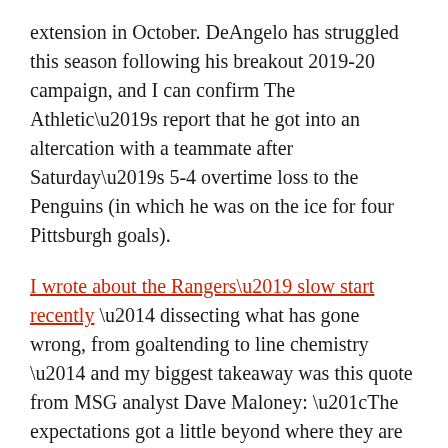extension in October. DeAngelo has struggled this season following his breakout 2019-20 campaign, and I can confirm The Athletic's report that he got into an altercation with a teammate after Saturday's 5-4 overtime loss to the Penguins (in which he was on the ice for four Pittsburgh goals).
I wrote about the Rangers' slow start recently — dissecting what has gone wrong, from goaltending to line chemistry — and my biggest takeaway was this quote from MSG analyst Dave Maloney: “The expectations got a little beyond where they are reality-wise.” DeAngelo’s sudden fall reminds us that while last season was a pleasant surprise, the Rangers are still a team with fundamental flaws. They’re also a team that management isn’t expecting to win right now. That means it’s still a malleable time for the franchise. Any players who don’t fit